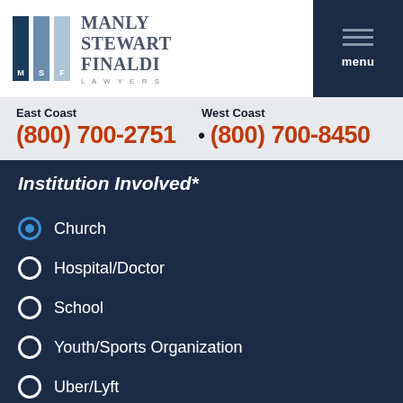[Figure (logo): Manly Stewart Finaldi Lawyers logo with three vertical bars (dark blue, medium blue, light blue) and firm name text]
East Coast
(800) 700-2751 • West Coast
(800) 700-8450
Institution Involved*
Church
Hospital/Doctor
School
Youth/Sports Organization
Uber/Lyft
Nursing/Assisted Living
Massage